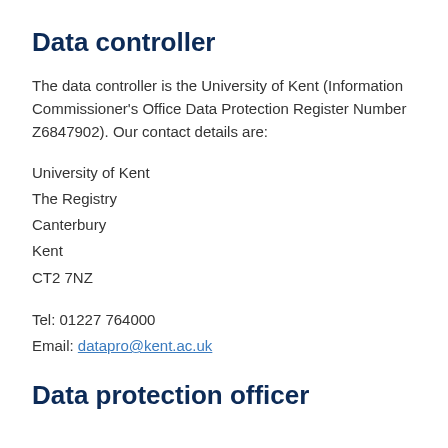Data controller
The data controller is the University of Kent (Information Commissioner's Office Data Protection Register Number Z6847902). Our contact details are:
University of Kent
The Registry
Canterbury
Kent
CT2 7NZ
Tel: 01227 764000
Email: datapro@kent.ac.uk
Data protection officer